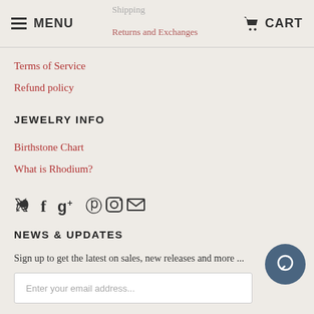MENU  CART
Shipping
Returns and Exchanges
Terms of Service
Refund policy
JEWELRY INFO
Birthstone Chart
What is Rhodium?
[Figure (other): Social media icons: Twitter, Facebook, Google+, Pinterest, Instagram, Email]
NEWS & UPDATES
Sign up to get the latest on sales, new releases and more ...
Enter your email address...